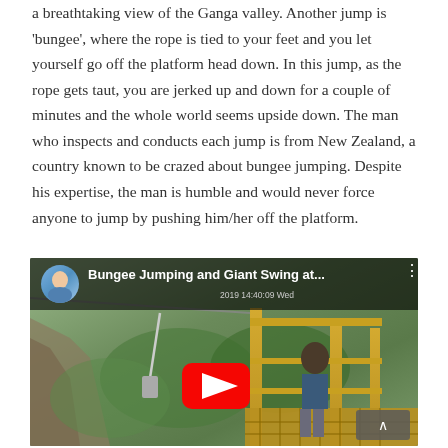a breathtaking view of the Ganga valley. Another jump is 'bungee', where the rope is tied to your feet and you let yourself go off the platform head down. In this jump, as the rope gets taut, you are jerked up and down for a couple of minutes and the whole world seems upside down. The man who inspects and conducts each jump is from New Zealand, a country known to be crazed about bungee jumping. Despite his expertise, the man is humble and would never force anyone to jump by pushing him/her off the platform.
[Figure (screenshot): YouTube video thumbnail showing 'Bungee Jumping and Giant Swing at...' with a person on a bungee jumping platform with yellow structures, surrounded by green valley scenery. A red YouTube play button is visible in the center. A timestamp '2019 14:40:09 Wed' appears on the video.]